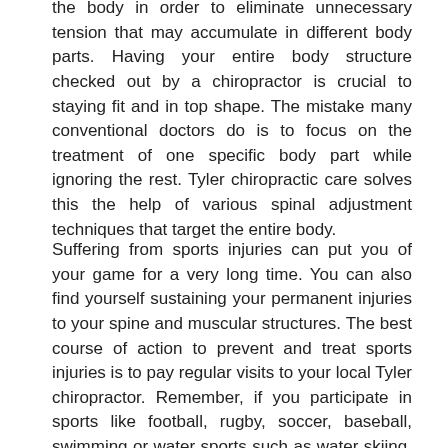the body in order to eliminate unnecessary tension that may accumulate in different body parts. Having your entire body structure checked out by a chiropractor is crucial to staying fit and in top shape. The mistake many conventional doctors do is to focus on the treatment of one specific body part while ignoring the rest. Tyler chiropractic care solves this the help of various spinal adjustment techniques that target the entire body.
Suffering from sports injuries can put you of your game for a very long time. You can also find yourself sustaining your permanent injuries to your spine and muscular structures. The best course of action to prevent and treat sports injuries is to pay regular visits to your local Tyler chiropractor. Remember, if you participate in sports like football, rugby, soccer, baseball, swimming or water sports such as water skiing, it is very important that you work with a chiropractor to prevent unexpected injuries.